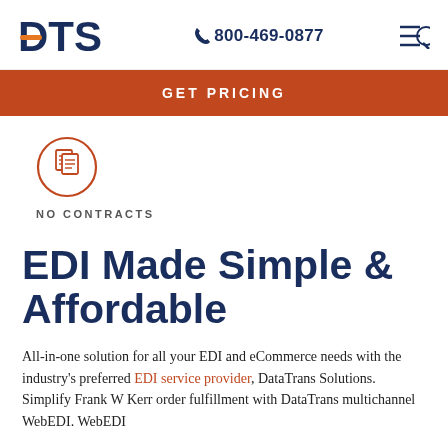DTS  800-469-0877
GET PRICING
[Figure (logo): Circular icon with document/contract pages inside, orange outline]
NO CONTRACTS
EDI Made Simple & Affordable
All-in-one solution for all your EDI and eCommerce needs with the industry's preferred EDI service provider, DataTrans Solutions. Simplify Frank W Kerr order fulfillment with DataTrans multichannel WebEDI. WebEDI